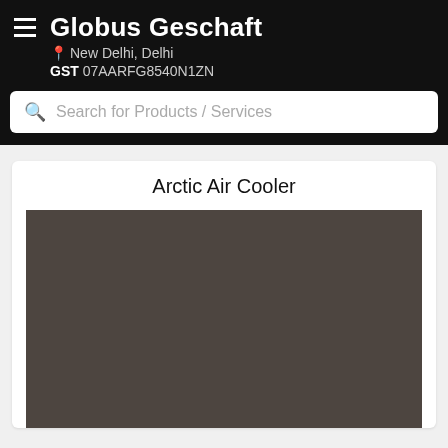Globus Geschaft
📍 New Delhi, Delhi
GST 07AARFG8540N1ZN
Search for Products / Services
Arctic Air Cooler
[Figure (photo): Product photo placeholder — dark brownish-grey rectangle representing an Arctic Air Cooler product image]